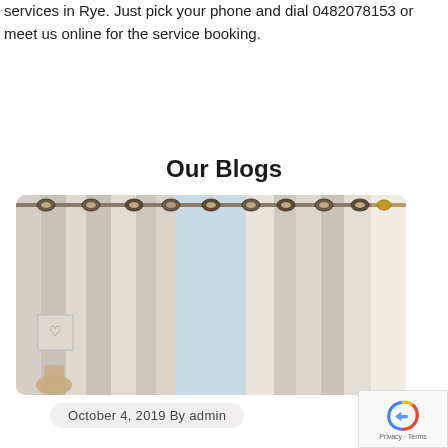services in Rye. Just pick your phone and dial 0482078153 or meet us online for the service booking.
Our Blogs
[Figure (photo): Photo of white/cream curtains hanging on curtain rods with metal grommet rings, showing interior home decor with curtains partially open revealing a light-filled room.]
October 4, 2019 By admin